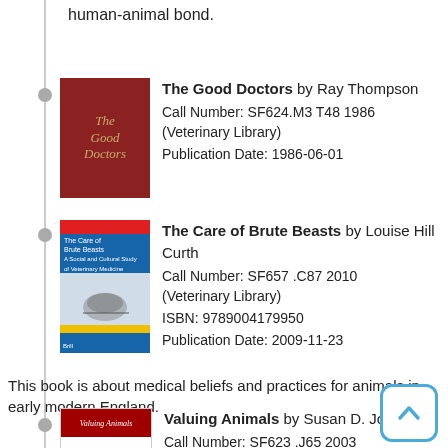human-animal bond.
The Good Doctors by Ray Thompson
Call Number: SF624.M3 T48 1986 (Veterinary Library)
Publication Date: 1986-06-01
The Care of Brute Beasts by Louise Hill Curth
Call Number: SF657 .C87 2010 (Veterinary Library)
ISBN: 9789004179950
Publication Date: 2009-11-23
This book is about medical beliefs and practices for animals in early modern England.
Valuing Animals by Susan D. Jones
Call Number: SF623 .J65 2003 (Veterinary Library)